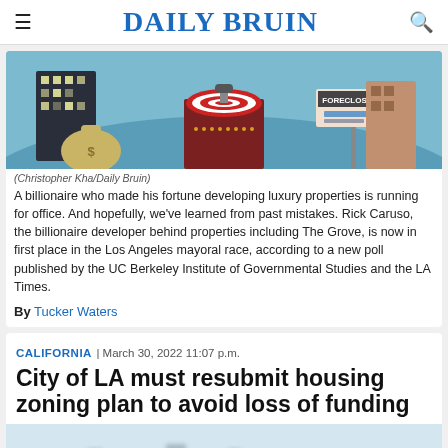DAILY BRUIN
[Figure (illustration): Illustration showing a billionaire at a podium with a foreclosure sign and dark buildings in the background]
(Christopher Kha/Daily Bruin)
A billionaire who made his fortune developing luxury properties is running for office. And hopefully, we've learned from past mistakes. Rick Caruso, the billionaire developer behind properties including The Grove, is now in first place in the Los Angeles mayoral race, according to a new poll published by the UC Berkeley Institute of Governmental Studies and the LA Times.
By Tucker Waters
CALIFORNIA | March 30, 2022 11:07 p.m.
City of LA must resubmit housing zoning plan to avoid loss of funding
[Figure (photo): Hazy aerial photo of the Los Angeles skyline]